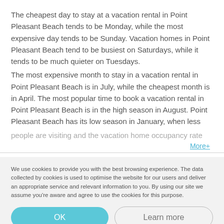The cheapest day to stay at a vacation rental in Point Pleasant Beach tends to be Monday, while the most expensive day tends to be Sunday. Vacation homes in Point Pleasant Beach tend to be busiest on Saturdays, while it tends to be much quieter on Tuesdays.
The most expensive month to stay in a vacation rental in Point Pleasant Beach is in July, while the cheapest month is in April. The most popular time to book a vacation rental in Point Pleasant Beach is in the high season in August. Point Pleasant Beach has its low season in January, when less people are visiting and the vacation home occupancy rate
More+
We use cookies to provide you with the best browsing experience. The data collected by cookies is used to optimise the website for our users and deliver an appropriate service and relevant information to you. By using our site we assume you're aware and agree to use the cookies for this purpose.
OK
Learn more